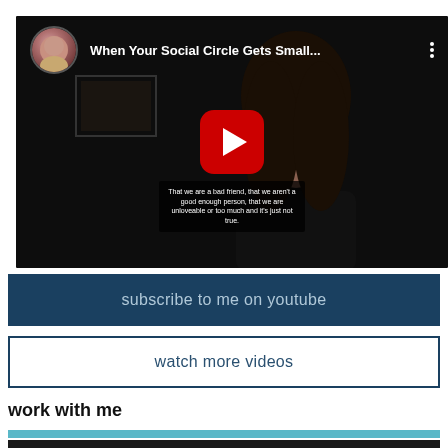[Figure (screenshot): YouTube video thumbnail showing a woman speaking with subtitle text overlay. Video title: 'When Your Social Circle Gets Small...' with channel avatar on top left and three-dot menu on top right. Red YouTube play button in center.]
subscribe to me on youtube
watch more videos
work with me